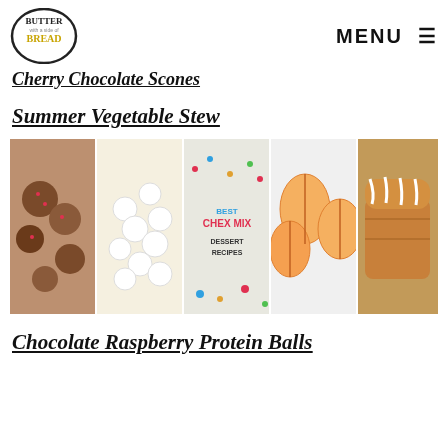[Figure (logo): Butter with a Side of Bread logo — circular badge with text]
MENU ☰
Cherry Chocolate Scones
Summer Vegetable Stew
[Figure (photo): Collage of five food photos: chocolate raspberry protein balls, marshmallow treats, Best Chex Mix Dessert Recipes text overlay, peach slices, and glazed bread loaf]
Chocolate Raspberry Protein Balls